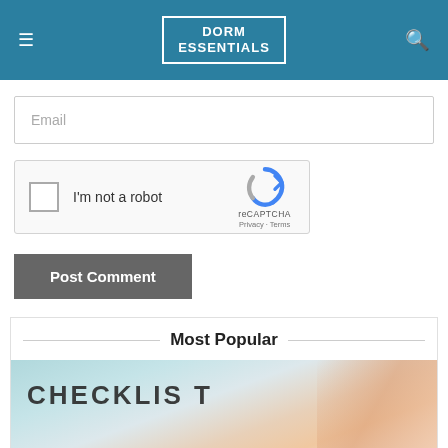DORM ESSENTIALS
[Figure (screenshot): Email input field with placeholder text 'Email']
[Figure (screenshot): reCAPTCHA widget with checkbox labeled 'I'm not a robot' and reCAPTCHA logo with Privacy and Terms links]
[Figure (screenshot): Post Comment button in dark gray]
Most Popular
[Figure (photo): Checklist image showing the word CHECKLIST with a hand holding a pen]